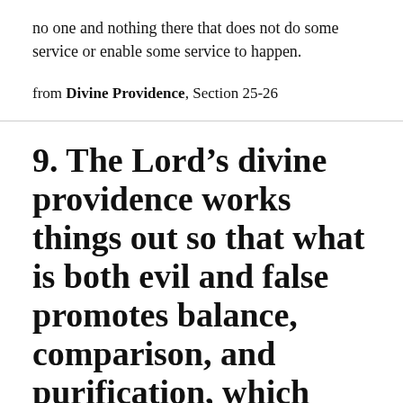no one and nothing there that does not do some service or enable some service to happen.
from Divine Providence, Section 25-26
9. The Lord's divine providence works things out so that what is both evil and false promotes balance, comparison, and purification, which means that it promotes the union of